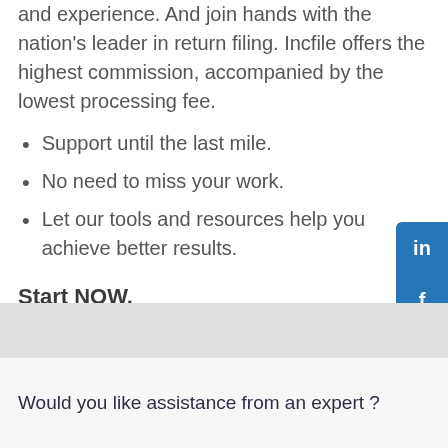and experience. And join hands with the nation's leader in return filing. Incfile offers the highest commission, accompanied by the lowest processing fee.
Support until the last mile.
No need to miss your work.
Let our tools and resources help you achieve better results.
Start NOW.
Call at +91 99530 04166
Would you like assistance from an expert ?